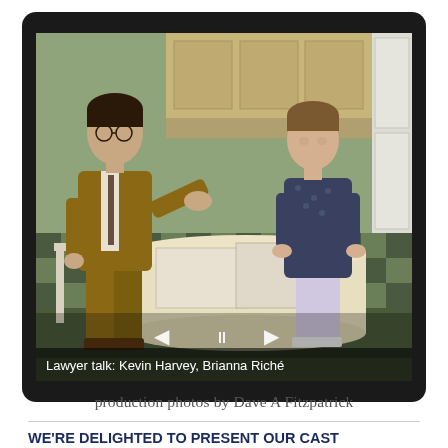[Figure (photo): Theater production photo showing two actors at a kitchen table. A man in a brown suit sits on the left gesturing with his hands, and a woman in a dark floral dress sits on the right. Caption reads: Lawyer talk: Kevin Harvey, Brianna Riché. Navigation arrows and pause button visible.]
production photos by Dave A Fitzpatrick
WE'RE DELIGHTED TO PRESENT OUR CAST (click on composite photo to see more)